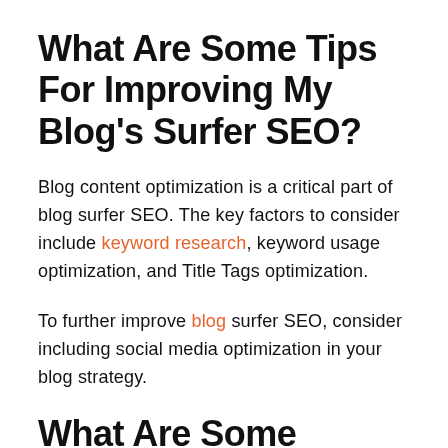What Are Some Tips For Improving My Blog’s Surfer SEO?
Blog content optimization is a critical part of blog surfer SEO. The key factors to consider include keyword research, keyword usage optimization, and Title Tags optimization.
To further improve blog surfer SEO, consider including social media optimization in your blog strategy.
What Are Some Benefits of Surfer Search Engine...